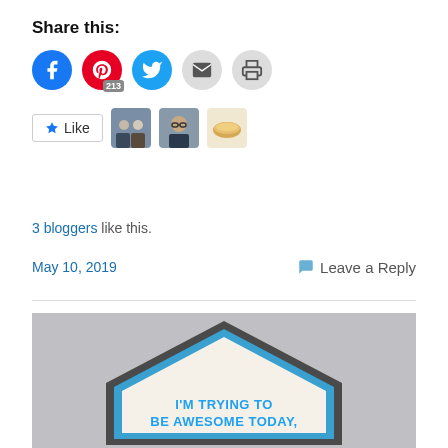Share this:
[Figure (infographic): Social share buttons: Facebook (blue circle), Pinterest (red circle with 213 badge), Twitter (blue circle), Email (gray circle), Print (gray circle)]
[Figure (infographic): WordPress Like button with star icon and three blogger avatar thumbnails]
3 bloggers like this.
May 10, 2019
Leave a Reply
[Figure (photo): A house-shaped wooden sign with gray border and blue inner border, showing text 'I'M TRYING TO BE AWESOME TODAY,' on a light background against a gray wall]